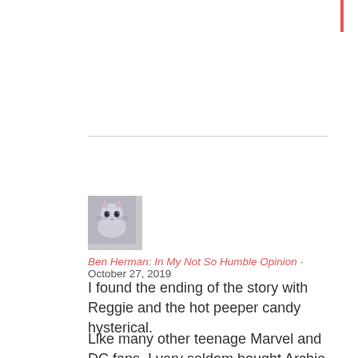[Figure (photo): Small avatar photo of a cat (appears to be a Siamese or Himalayan breed), used as commenter profile picture]
Ben Herman: In My Not So Humble Opinion · October 27, 2019
I found the ending of the story with Reggie and the hot peeper candy hysterical.
Like many other teenage Marvel and DC fans, I very seldom bought Archie Comics. The total lack of any continuity and the same plot & character beats being replayed over and over again was a turn-off to me. Ah, well. I suppose